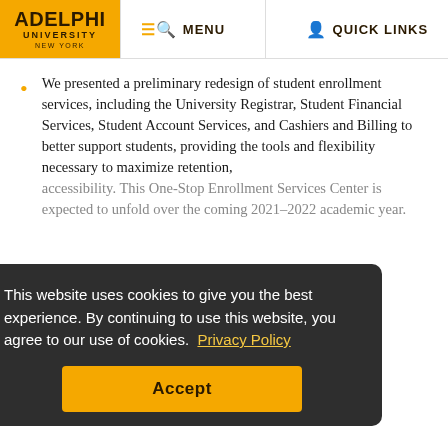ADELPHI UNIVERSITY NEW YORK | MENU | QUICK LINKS
We presented a preliminary redesign of student enrollment services, including the University Registrar, Student Financial Services, Student Account Services, and Cashiers and Billing to better support students, providing the tools and flexibility necessary to maximize retention, accessibility. This One-Stop Enrollment Services Center is expected to unfold over the coming 2021–2022 academic year.
This website uses cookies to give you the best experience. By continuing to use this website, you agree to our use of cookies. Privacy Policy
Student advising models were launched, assisting in the retention and support of vulnerable students.